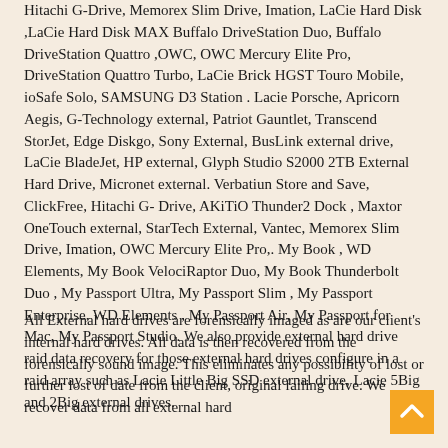Hitachi G-Drive, Memorex Slim Drive, Imation, LaCie Hard Disk ,LaCie Hard Disk MAX Buffalo DriveStation Duo, Buffalo DriveStation Quattro ,OWC, OWC Mercury Elite Pro, DriveStation Quattro Turbo, LaCie Brick HGST Touro Mobile, ioSafe Solo, SAMSUNG D3 Station . Lacie Porsche, Apricorn Aegis, G-Technology external, Patriot Gauntlet, Transcend StorJet, Edge Diskgo, Sony External, BusLink external drive, LaCie BladeJet, HP external, Glyph Studio S2000 2TB External Hard Drive, Micronet external. Verbatiun Store and Save, ClickFree, Hitachi G- Drive, AKiTiO Thunder2 Dock , Maxtor OneTouch external, StarTech External, Vantec, Memorex Slim Drive, Imation, OWC Mercury Elite Pro,. My Book , WD Elements, My Book VelociRaptor Duo, My Book Thunderbolt Duo , My Passport Ultra, My Passport Slim , My Passport Enterprise, WD Elements , My Passport Air, My Passport for Mac, My Passport Studio. We also provide external hard drive raid data recovery for those external hard drives configure in a raid array such as Lacie Little Big SSD external drive, Lacie 5Big and 2Big external drives.
All External hard drives are forensically imaged as are our client's internal hard drives. All data is then recovered from the forensically sound image. This eliminates any possibility of lost or further lost of date from the client, original failing drive. We recover data from all external hard